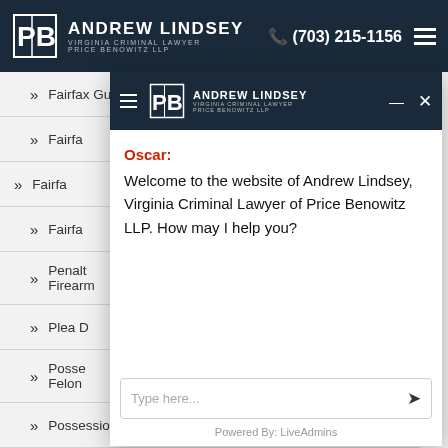[Figure (screenshot): Andrew Lindsey Virginia Criminal Lawyer Price Benowitz LLP website header nav bar with logo, phone number (703) 215-1156, and hamburger menu]
» Fairfax Gun Investigation
» Fairfa...
» Fairfa...
» Fairfa...
» Penalt... Firearm...
» Plea D...
» Posse... Felon...
» Possession of Prohibited...
[Figure (screenshot): Chat widget overlay with Andrew Lindsey Price Benowitz LLP branding. Oscar chatbot says: Welcome to the website of Andrew Lindsey, Virginia Criminal Lawyer of Price Benowitz LLP. How may I help you? Input box with Type here... placeholder. Powered By: LiveAdmins footer.]